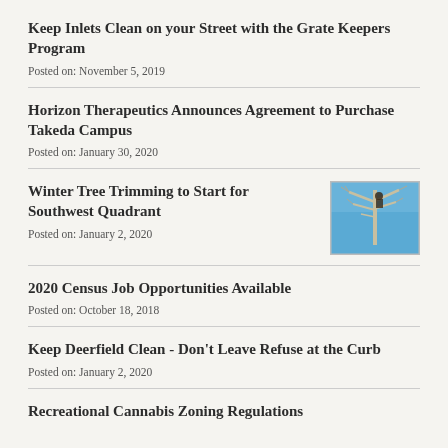Keep Inlets Clean on your Street with the Grate Keepers Program
Posted on: November 5, 2019
Horizon Therapeutics Announces Agreement to Purchase Takeda Campus
Posted on: January 30, 2020
Winter Tree Trimming to Start for Southwest Quadrant
Posted on: January 2, 2020
[Figure (photo): Photo of a tree trimming worker in a tree against a blue sky]
2020 Census Job Opportunities Available
Posted on: October 18, 2018
Keep Deerfield Clean - Don't Leave Refuse at the Curb
Posted on: January 2, 2020
Recreational Cannabis Zoning Regulations